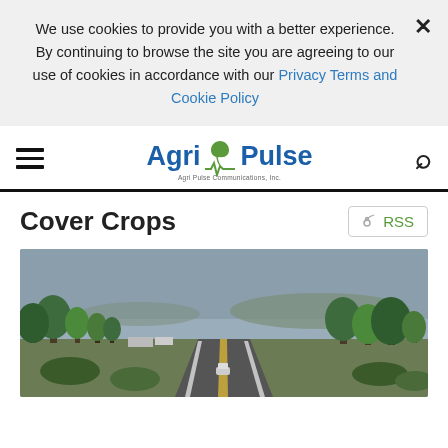We use cookies to provide you with a better experience. × By continuing to browse the site you are agreeing to our use of cookies in accordance with our Privacy Terms and Cookie Policy
[Figure (logo): Agri/Pulse logo with green leaf and tagline 'Agri Pulse Communications, Inc.']
Cover Crops
RSS
[Figure (photo): A rural highway road scene with trees on both sides, overcast sky, and a car in the distance.]